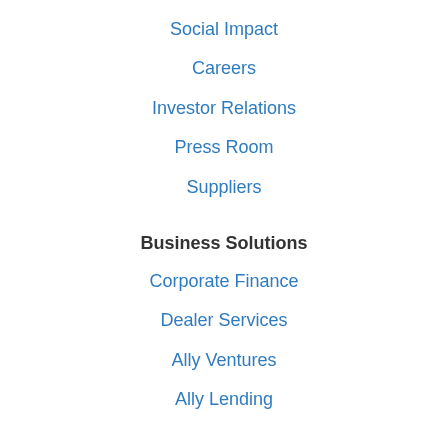Social Impact
Careers
Investor Relations
Press Room
Suppliers
Business Solutions
Corporate Finance
Dealer Services
Ally Ventures
Ally Lending
Learn
Financial Life Tips & Tools
Do It Right
Wallet Wise